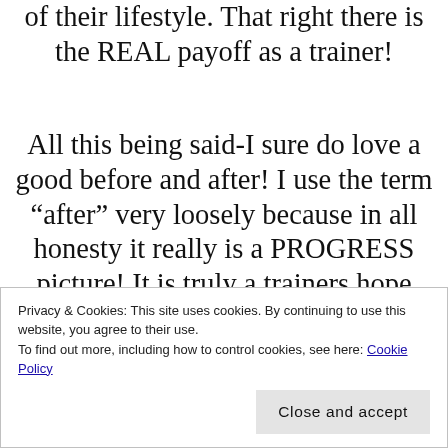of their lifestyle. That right there is the REAL payoff as a trainer!
All this being said-I sure do love a good before and after! I use the term “after” very loosely because in all honesty it really is a PROGRESS picture! It is truly a trainers hope that they keep health and fitness as a life long habit. BUT! Let’s be real here…those side by side
Privacy & Cookies: This site uses cookies. By continuing to use this website, you agree to their use.
To find out more, including how to control cookies, see here: Cookie Policy
Close and accept